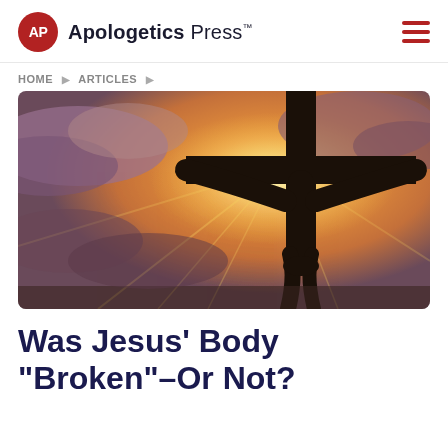AP Apologetics Press™
HOME ▶ ARTICLES ▶
[Figure (photo): Silhouette of a person on a cross against a dramatic golden and cloudy sky, sunbeams radiating behind]
Was Jesus' Body "Broken"–Or Not?